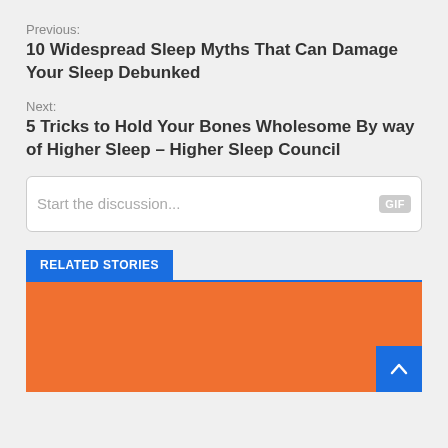Previous:
10 Widespread Sleep Myths That Can Damage Your Sleep Debunked
Next:
5 Tricks to Hold Your Bones Wholesome By way of Higher Sleep – Higher Sleep Council
Start the discussion...
RELATED STORIES
[Figure (photo): Orange background image area for related story]